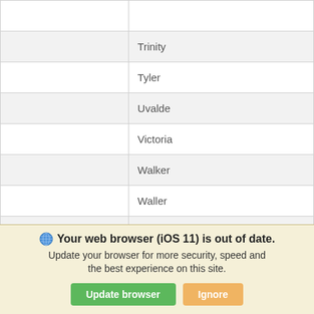|  |  |
|  | Trinity |
|  | Tyler |
|  | Uvalde |
|  | Victoria |
|  | Walker |
|  | Waller |
|  | Washington |
|  | Webb |
Your web browser (iOS 11) is out of date. Update your browser for more security, speed and the best experience on this site.